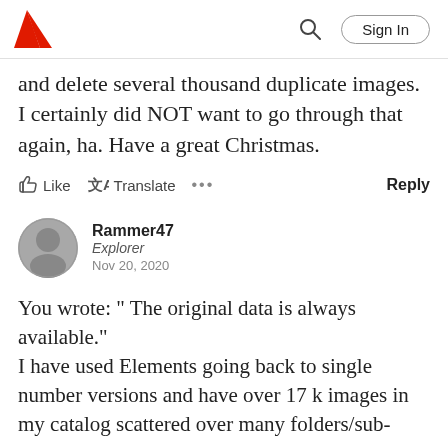Adobe | Sign In
and delete several thousand duplicate images. I certainly did NOT want to go through that again, ha. Have a great Christmas.
Like  Translate  ...  Reply
Rammer47
Explorer
Nov 20, 2020
You wrote: " The original data is always available."
I have used Elements going back to single number versions and have over 17 k images in my catalog scattered over many folders/sub-